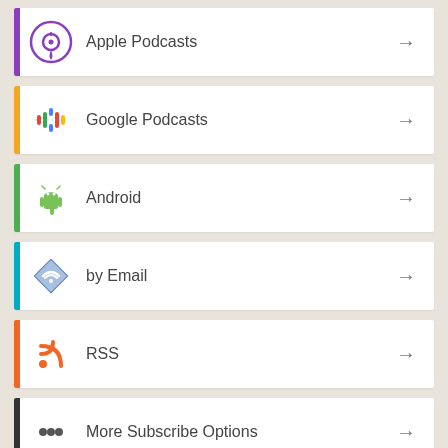Apple Podcasts
Google Podcasts
Android
by Email
RSS
More Subscribe Options
Comments
Morgan Preston on Electoral Reform with Prof. Daniel Westlake